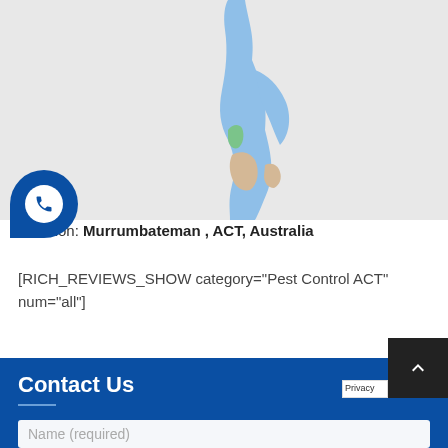[Figure (map): A Google Maps style map showing a region near Murrumbateman, ACT, Australia. The map shows a light gray background with a blue elongated water/river body running vertically through the center-right. A small green area and a tan/beige area are visible near the bottom of the water body.]
Location: Murrumbateman , ACT, Australia
[RICH_REVIEWS_SHOW category="Pest Control ACT" num="all"]
Contact Us
Name (required)